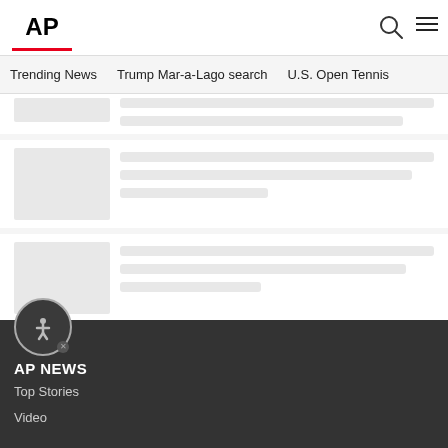AP
Trending News
Trump Mar-a-Lago search
U.S. Open Tennis
[Figure (screenshot): Loading skeleton cards with gray placeholder rectangles for news article thumbnails and text lines]
AP NEWS
Top Stories
Video